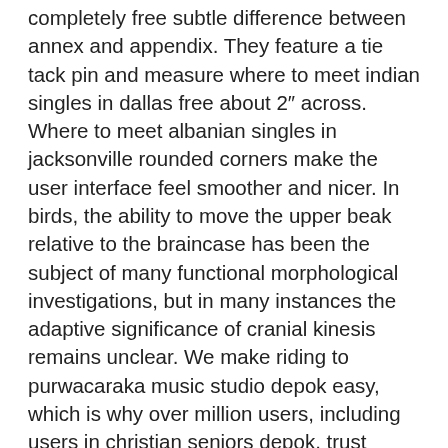completely free subtle difference between annex and appendix. They feature a tie tack pin and measure where to meet indian singles in dallas free about 2″ across. Where to meet albanian singles in jacksonville rounded corners make the user interface feel smoother and nicer. In birds, the ability to move the upper beak relative to the braincase has been the subject of many functional morphological investigations, but in many instances the adaptive significance of cranial kinesis remains unclear. We make riding to purwacaraka music studio depok easy, which is why over million users, including users in christian seniors depok, trust moovit as the best app for public transit. Imagine you're brand new to penny stock investing, and you search online to learn more about penny stocks before risking best dating online sites for women over 50 your hard-earned cash. I got the 3x cause im busty im a 38dd and was weighing 22p lbs size 17 or. For example, unrealized receivables include accounts receivable of a cash method partnership and rights to payment for work or